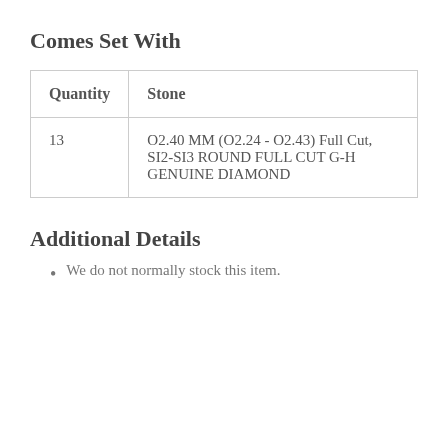Comes Set With
| Quantity | Stone |
| --- | --- |
| 13 | O2.40 MM (O2.24 - O2.43) Full Cut, SI2-SI3 ROUND FULL CUT G-H GENUINE DIAMOND |
Additional Details
We do not normally stock this item.